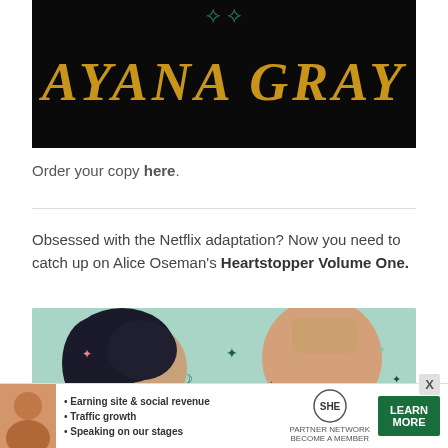[Figure (illustration): Book cover with black background showing the text 'AYANA GRAY' in large gold stylized serif letters with decorative elements at the top]
Order your copy here.
[Figure (illustration): Illustrated comic-style banner showing two characters facing away from each other on a mint-green background with decorative leaf/star motifs]
Obsessed with the Netflix adaptation? Now you need to catch up on Alice Oseman's Heartstopper Volume One.
[Figure (advertisement): SHE Media Partner Network ad banner with a woman's photo, bullet points about earning site & social revenue, traffic growth, speaking on stages, the SHE Partner Network logo, and a green LEARN MORE button]